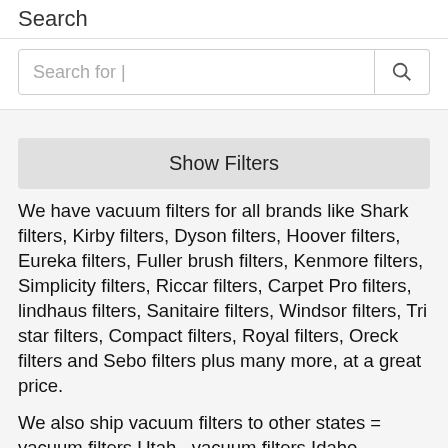Search
Search for |
Show Filters
We have vacuum filters for all brands like Shark filters, Kirby filters, Dyson filters, Hoover filters, Eureka filters, Fuller brush filters, Kenmore filters, Simplicity filters, Riccar filters, Carpet Pro filters, lindhaus filters, Sanitaire filters, Windsor filters, Tri star filters, Compact filters, Royal filters, Oreck filters and Sebo filters plus many more, at a great price.
We also ship vacuum filters to other states = vacuum filters Utah , vacuum filters Idaho , vacuum filters Wyoming , vacuum filters Colorado , vacuum filters Washington , vacuum filters Oregon , vacuum filters California , vacuum filters Nevada , vacuum filters Montana , vacuum filters North Dakota , vacuum filters South Dakota , vacuum filters Nebraska , vacuum filters Kansas , vacuum filters Missouri , vacuum filters N...